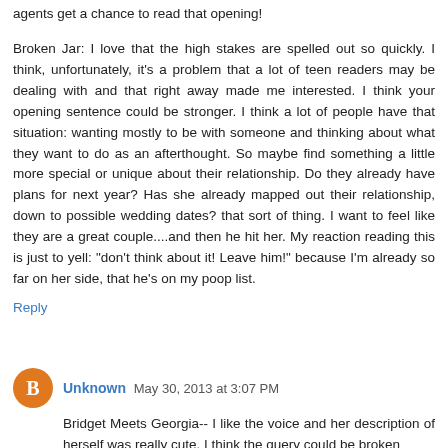agents get a chance to read that opening!
Broken Jar: I love that the high stakes are spelled out so quickly. I think, unfortunately, it's a problem that a lot of teen readers may be dealing with and that right away made me interested. I think your opening sentence could be stronger. I think a lot of people have that situation: wanting mostly to be with someone and thinking about what they want to do as an afterthought. So maybe find something a little more special or unique about their relationship. Do they already have plans for next year? Has she already mapped out their relationship, down to possible wedding dates? that sort of thing. I want to feel like they are a great couple....and then he hit her. My reaction reading this is just to yell: "don't think about it! Leave him!" because I'm already so far on her side, that he's on my poop list.
Reply
Unknown May 30, 2013 at 3:07 PM
Bridget Meets Georgia-- I like the voice and her description of herself was really cute. I think the query could be broken